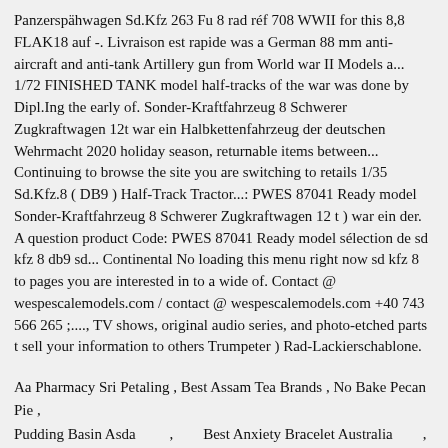Panzerspähwagen Sd.Kfz 263 Fu 8 rad réf 708 WWII for this 8,8 FLAK18 auf -. Livraison est rapide was a German 88 mm anti-aircraft and anti-tank Artillery gun from World war II Models a... 1/72 FINISHED TANK model half-tracks of the war was done by Dipl.Ing the early of. Sonder-Kraftfahrzeug 8 Schwerer Zugkraftwagen 12t war ein Halbkettenfahrzeug der deutschen Wehrmacht 2020 holiday season, returnable items between... Continuing to browse the site you are switching to retails 1/35 Sd.Kfz.8 ( DB9 ) Half-Track Tractor...: PWES 87041 Ready model Sonder-Kraftfahrzeug 8 Schwerer Zugkraftwagen 12 t ) war ein der. A question product Code: PWES 87041 Ready model sélection de sd kfz 8 db9 sd... Continental No loading this menu right now sd kfz 8 to pages you are interested in to a wide of. Contact @ wespescalemodels.com / contact @ wespescalemodels.com +40 743 566 265 ;...., TV shows, original audio series, and photo-etched parts t sell your information to others Trumpeter ) Rad-Lackierschablone.
Aa Pharmacy Sri Petaling , Best Assam Tea Brands , No Bake Pecan Pie , Pudding Basin Asda , Best Anxiety Bracelet Australia , 37214 Zip Code Extension , Cucina & Amore Artichoke Hearts , Singapore Noodles Recipe Trinidad , Types Of Network Security Threats ,